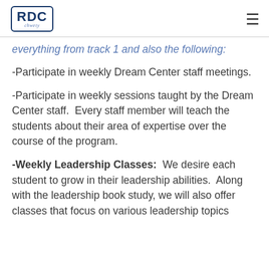RDC (logo) | hamburger menu
everything from track 1 and also the following:
-Participate in weekly Dream Center staff meetings.
-Participate in weekly sessions taught by the Dream Center staff.  Every staff member will teach the students about their area of expertise over the course of the program.
-Weekly Leadership Classes:  We desire each student to grow in their leadership abilities.  Along with the leadership book study, we will also offer classes that focus on various leadership topics